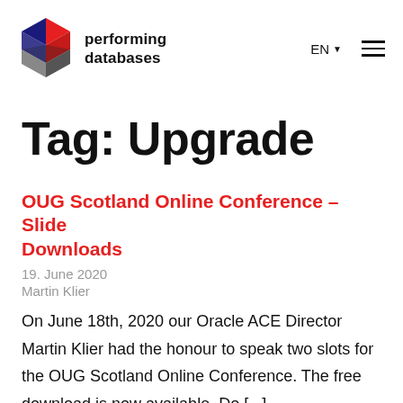performing databases EN ☰
Tag: Upgrade
OUG Scotland Online Conference – Slide Downloads
19. June 2020
Martin Klier
On June 18th, 2020 our Oracle ACE Director Martin Klier had the honour to speak two slots for the OUG Scotland Online Conference. The free download is now available. Do [...]